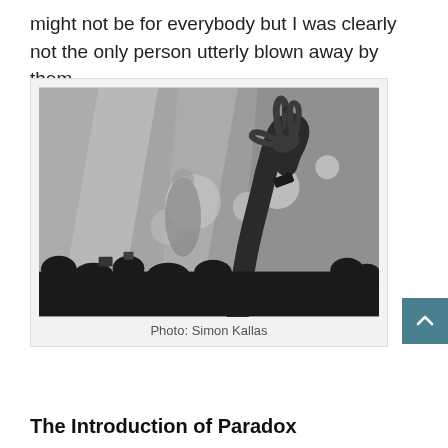might not be for everybody but I was clearly not the only person utterly blown away by them.
[Figure (photo): Black and white concert photo showing a raised arm making the 'rock on' hand gesture with a wristband, with a performer and stage lights blurred in the background and crowd silhouettes below.]
Photo: Simon Kallas
The Introduction of Paradox